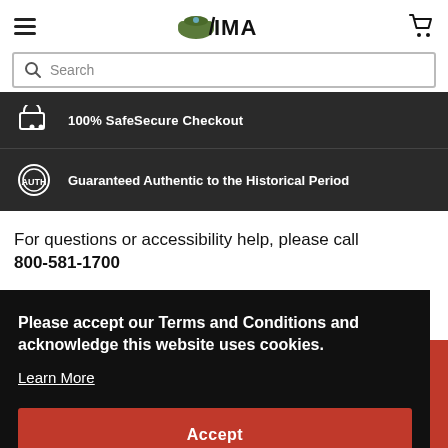Search
100% SafeSecure Checkout
Guaranteed Authentic to the Historical Period
For questions or accessibility help, please call 800-581-1700
Please accept our Terms and Conditions and acknowledge this website uses cookies.
Learn More
Accept